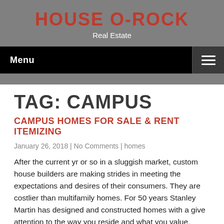HOUSE O-ROCK
Real Estate
Menu
TAG: CAMPUS
CAMPUS HOMES FOR SALE & RENT ITEMIZING
January 26, 2018 | No Comments | homes
After the current yr or so in a sluggish market, custom house builders are making strides in meeting the expectations and desires of their consumers. They are costlier than multifamily homes. For 50 years Stanley Martin has designed and constructed homes with a give attention to the way you reside and what you value. Nevertheless, in case you are having